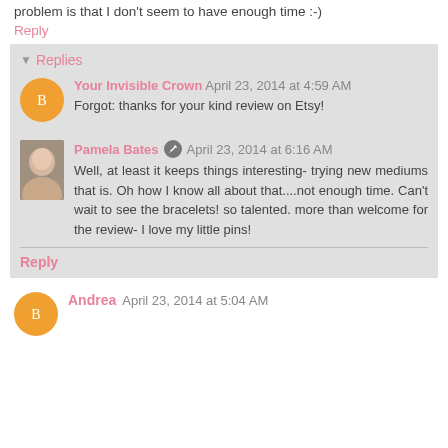problem is that I don't seem to have enough time :-)
Reply
Replies
Your Invisible Crown  April 23, 2014 at 4:59 AM
Forgot: thanks for your kind review on Etsy!
Pamela Bates  April 23, 2014 at 6:16 AM
Well, at least it keeps things interesting- trying new mediums that is. Oh how I know all about that....not enough time. Can't wait to see the bracelets! so talented. more than welcome for the review- I love my little pins!
Reply
Andrea  April 23, 2014 at 5:04 AM